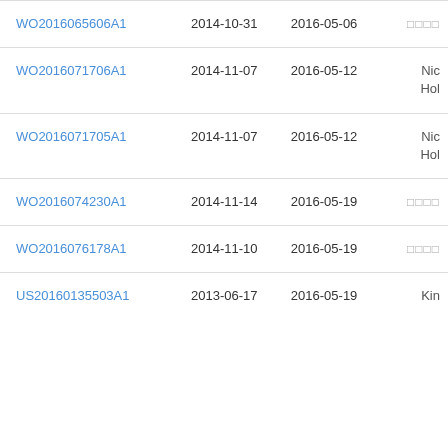| WO2016065606A1 | 2014-10-31 | 2016-05-06 | □□□□ |
| WO2016071706A1 | 2014-11-07 | 2016-05-12 | Nic
Hol |
| WO2016071705A1 | 2014-11-07 | 2016-05-12 | Nic
Hol |
| WO2016074230A1 | 2014-11-14 | 2016-05-19 | □□□□ |
| WO2016076178A1 | 2014-11-10 | 2016-05-19 | □□□□ |
| US20160135503A1 | 2013-06-17 | 2016-05-19 | Kin |